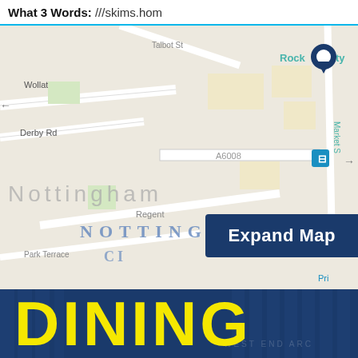What 3 Words: ///skims.hom
[Figure (map): Street map of Nottingham city centre showing Rock City venue marked with a blue pin, surrounding streets including Wollaton St, Derby Rd, Regent St, Park Terrace, and A6008 road. Kitty Café shown with an orange coffee cup icon. An 'Expand Map' button overlaid on the map.]
DINING